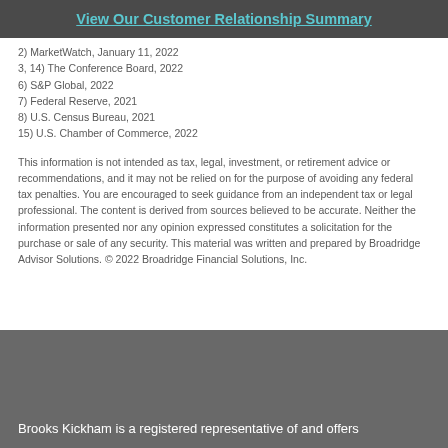View Our Customer Relationship Summary
2) MarketWatch, January 11, 2022
3, 14) The Conference Board, 2022
6) S&P Global, 2022
7) Federal Reserve, 2021
8) U.S. Census Bureau, 2021
15) U.S. Chamber of Commerce, 2022
This information is not intended as tax, legal, investment, or retirement advice or recommendations, and it may not be relied on for the purpose of avoiding any federal tax penalties. You are encouraged to seek guidance from an independent tax or legal professional. The content is derived from sources believed to be accurate. Neither the information presented nor any opinion expressed constitutes a solicitation for the purchase or sale of any security. This material was written and prepared by Broadridge Advisor Solutions. © 2022 Broadridge Financial Solutions, Inc.
Brooks Kickham is a registered representative of and offers